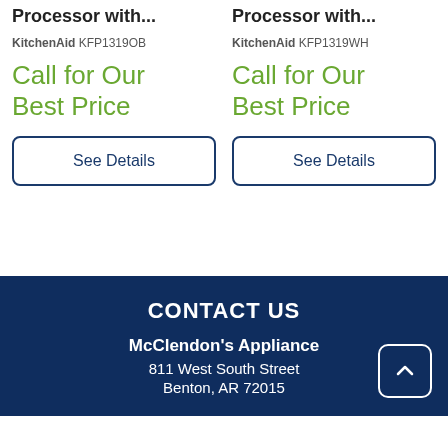Processor with...
KitchenAid KFP1319OB
Call for Our Best Price
See Details
Processor with...
KitchenAid KFP1319WH
Call for Our Best Price
See Details
CONTACT US
McClendon's Appliance
811 West South Street
Benton, AR 72015